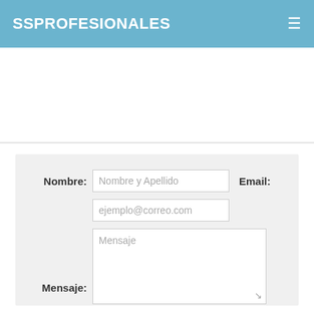SSPROFESIONALES
[Figure (screenshot): Web form with fields: Nombre, Email, Mensaje, Código de Seguridad (4395), and Enviar button]
Nombre: Nombre y Apellido   Email:
ejemplo@correo.com
Mensaje: Mensaje
Código de Seguridad 4395
Ingrese Aquí el Código de S   Enviar